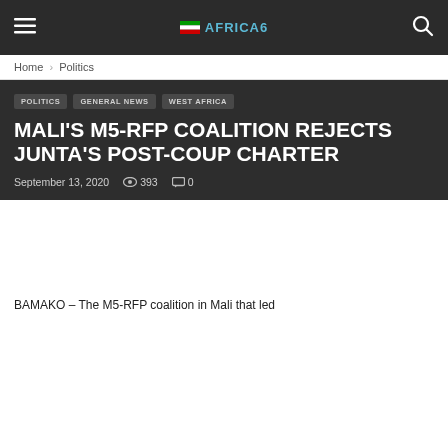AFRICA6
Home › Politics
POLITICS   GENERAL NEWS   WEST AFRICA
MALI'S M5-RFP COALITION REJECTS JUNTA'S POST-COUP CHARTER
September 13, 2020   393   0
BAMAKO – The M5-RFP coalition in Mali that led